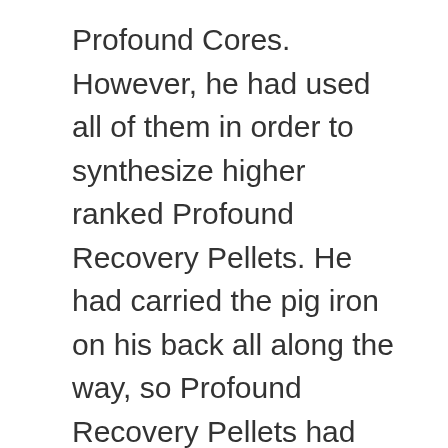Profound Cores. However, he had used all of them in order to synthesize higher ranked Profound Recovery Pellets. He had carried the pig iron on his back all along the way, so Profound Recovery Pellets had almost been treated as food.
“Junior Brother Yun, you should also be exhausted today, so you should rest early. You don’t need